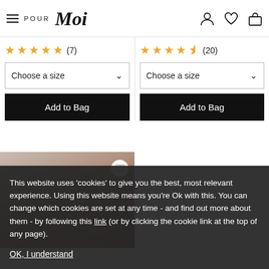[Figure (screenshot): Pour Moi e-commerce website header with hamburger menu, logo, and icons for account, wishlist, and bag]
★★★★★ (7)
★★★★½ (20)
Choose a size
Choose a size
Add to Bag
Add to Bag
[Figure (photo): Close-up photo of a hand holding lingerie fabric with a wishlist heart button]
This website uses 'cookies' to give you the best, most relevant experience. Using this website means you're Ok with this. You can change which cookies are set at any time - and find out more about them - by following this link (or by clicking the cookie link at the top of any page).
OK, I understand